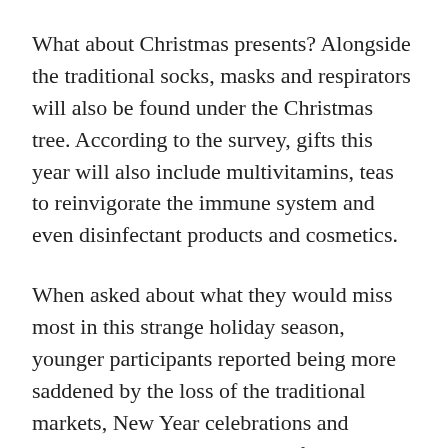What about Christmas presents? Alongside the traditional socks, masks and respirators will also be found under the Christmas tree. According to the survey, gifts this year will also include multivitamins, teas to reinvigorate the immune system and even disinfectant products and cosmetics.
When asked about what they would miss most in this strange holiday season, younger participants reported being more saddened by the loss of the traditional markets, New Year celebrations and meetings with colleagues and friends, while older participants, especially those residing in smaller villages, were more concerned about missing spiritual events like the midnight mass. Inhabitants of Prague were the most reluctant to miss the typical partying of the holidays, but also the most sensitive to not being able to reunite with